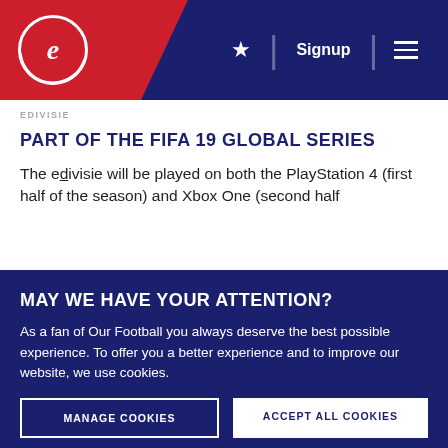edivisie — Signup — Menu
PART OF THE FIFA 19 GLOBAL SERIES
The edivisie will be played on both the PlayStation 4 (first half of the season) and Xbox One (second half
MAY WE HAVE YOUR ATTENTION?
As a fan of Our Football you always deserve the best possible experience. To offer you a better experience and to improve our website, we use cookies.
MANAGE COOKIES
ACCEPT ALL COOKIES
→ Read our Cookie Statement here
→ Read more about the use of personal data